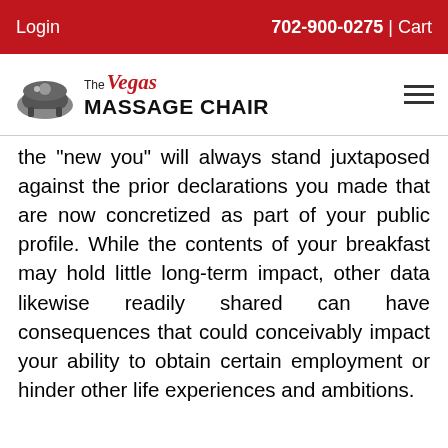Login   702-900-0275 | Cart
[Figure (logo): The Vegas Massage Chair logo with chair icon]
the "new you" will always stand juxtaposed against the prior declarations you made that are now concretized as part of your public profile. While the contents of your breakfast may hold little long-term impact, other data likewise readily shared can have consequences that could conceivably impact your ability to obtain certain employment or hinder other life experiences and ambitions.